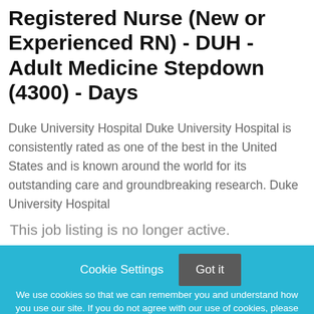Registered Nurse (New or Experienced RN) - DUH - Adult Medicine Stepdown (4300) - Days
Duke University Hospital Duke University Hospital is consistently rated as one of the best in the United States and is known around the world for its outstanding care and groundbreaking research. Duke University Hospital
This job listing is no longer active.
Cookie Settings  Got it  We use cookies so that we can remember you and understand how you use our site. If you do not agree with our use of cookies, please change the current settings found in our Cookie Policy. Otherwise, you agree to the use of the cookies as they are currently set.